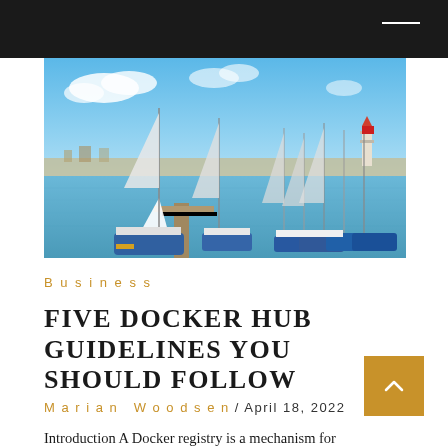[Figure (photo): A marina with many sailboats and yachts docked at piers under a bright blue sky with white clouds. A lighthouse is visible in the background on the right side.]
Business
FIVE DOCKER HUB GUIDELINES YOU SHOULD FOLLOW
Marian Woodsen / April 18, 2022
Introduction A Docker registry is a mechanism for